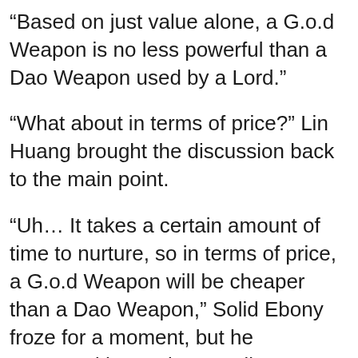“Based on just value alone, a G.o.d Weapon is no less powerful than a Dao Weapon used by a Lord.”
“What about in terms of price?” Lin Huang brought the discussion back to the main point.
“Uh… It takes a certain amount of time to nurture, so in terms of price, a G.o.d Weapon will be cheaper than a Dao Weapon,” Solid Ebony froze for a moment, but he answered honestly regardless.
“Apart from ordinary weapons, what else can be visualized? Can a G.o.d Weapon be used as armor? How about as a telekinetic